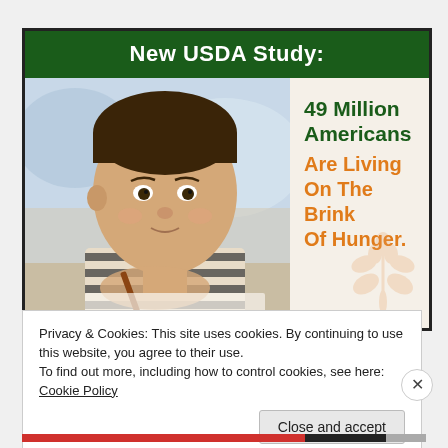New USDA Study:
[Figure (photo): Young Asian boy sitting at a desk, holding a pencil and looking upward, wearing a striped shirt. Photo depicts a child in a school or learning environment.]
49 Million Americans Are Living On The Brink Of Hunger.
Privacy & Cookies: This site uses cookies. By continuing to use this website, you agree to their use.
To find out more, including how to control cookies, see here: Cookie Policy
Close and accept